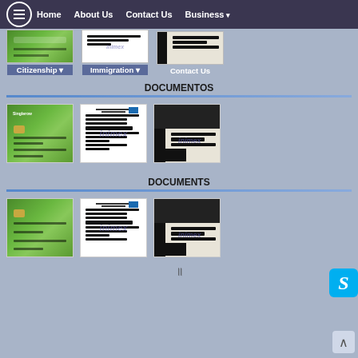Home | About Us | Contact Us | Business ▾
[Figure (screenshot): Sub-navigation with thumbnail images for Citizenship, Immigration, and Contact Us sections]
DOCUMENTOS
[Figure (photo): Three document thumbnails: a green card, a document with inimex watermark, and a passport page with inimex watermark]
DOCUMENTS
[Figure (photo): Three document thumbnails repeated: a green card, a document with inimex watermark, and a passport page with inimex watermark]
॥ (pagination)